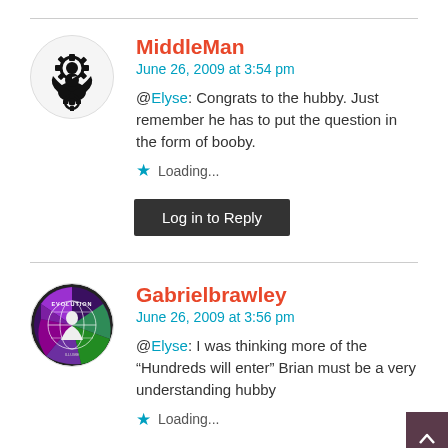[Figure (illustration): Circular avatar with black and white bird/gear design on white background]
MiddleMan
June 26, 2009 at 3:54 pm
@Elyse: Congrats to the hubby. Just remember he has to put the question in the form of booby.
★ Loading...
Log in to Reply
[Figure (illustration): Circular avatar with colorful Evolution themed design]
Gabrielbrawley
June 26, 2009 at 3:56 pm
@Elyse: I was thinking more of the “Hundreds will enter” Brian must be a very understanding hubby
★ Loading...